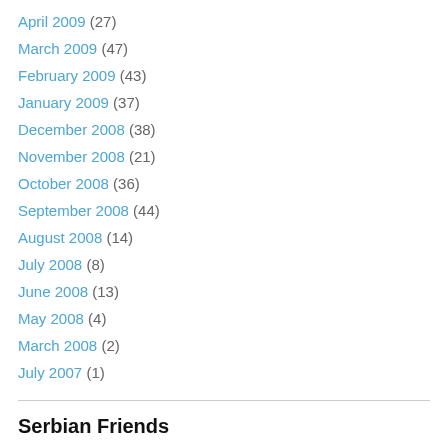April 2009 (27)
March 2009 (47)
February 2009 (43)
January 2009 (37)
December 2008 (38)
November 2008 (21)
October 2008 (36)
September 2008 (44)
August 2008 (14)
July 2008 (8)
June 2008 (13)
May 2008 (4)
March 2008 (2)
July 2007 (1)
Serbian Friends
C4SAIN
Help Animals in Belgrade Zoo